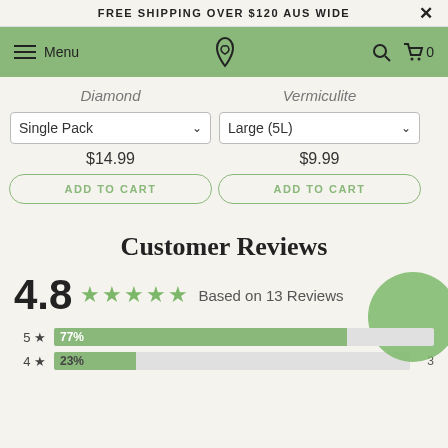FREE SHIPPING OVER $120 AUS WIDE
Diamond
Vermiculite
Single Pack
$14.99
ADD TO CART
Large (5L)
$9.99
ADD TO CART
Customer Reviews
4.8 ★★★★★ Based on 13 Reviews
[Figure (bar-chart): Rating distribution]